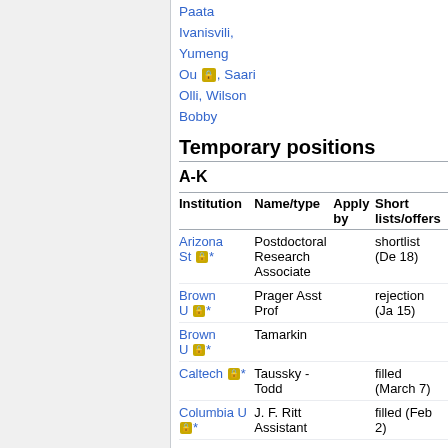Paata Ivanisvili, Yumeng Ou 🔒, Saari Olli, Wilson Bobby
Temporary positions
A-K
| Institution | Name/type | Apply by | Short lists/offers |
| --- | --- | --- | --- |
| Arizona St 🔒* | Postdoctoral Research Associate |  | shortlist (De 18) |
| Brown U 🔒* | Prager Asst Prof |  | rejection (Ja 15) |
| Brown U 🔒* | Tamarkin |  |  |
| Caltech 🔒* | Taussky - Todd |  | filled (March 7) |
| Columbia U 🔒* | J. F. Ritt Assistant |  | filled (Feb 2) |